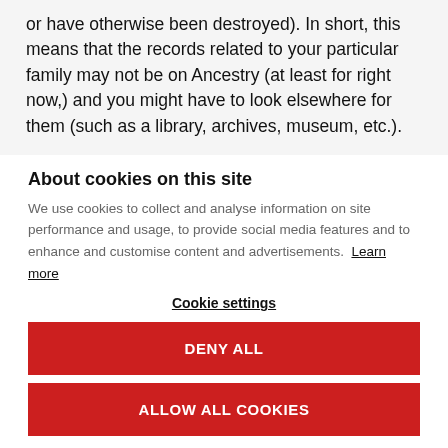or have otherwise been destroyed).  In short, this means that the records related to your particular family may not be on Ancestry (at least for right now,) and you might have to look elsewhere for them (such as a library, archives, museum, etc.).
About cookies on this site
We use cookies to collect and analyse information on site performance and usage, to provide social media features and to enhance and customise content and advertisements.  Learn more
Cookie settings
DENY ALL
ALLOW ALL COOKIES